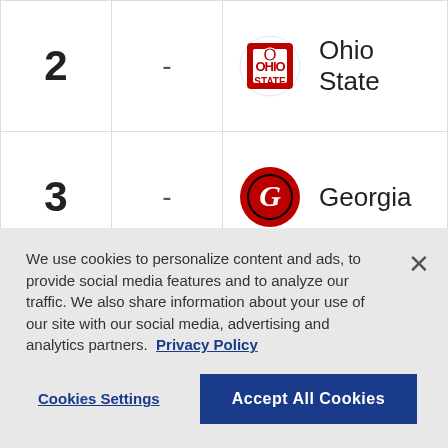| Rank | Change | Team |
| --- | --- | --- |
| 2 | - | Ohio State |
| 3 | - | Georgia |
| 4 | - | Clemson |
| 5 | - | Notre Dame |
| 6 | - | (partial row) |
We use cookies to personalize content and ads, to provide social media features and to analyze our traffic. We also share information about your use of our site with our social media, advertising and analytics partners. Privacy Policy
Cookies Settings | Accept All Cookies